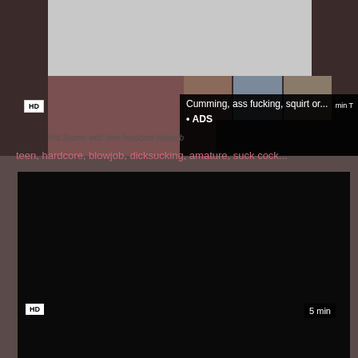[Figure (screenshot): Video thumbnail area with gray placeholder, photo thumbnail, small thumbnail strip, and ad overlay popup saying 'Cumming, ass fucking, squirt or... • ADS']
Hot 3some with teen hardcore blowjob
teen, hardcore, blowjob, dicksucking, amature, suck cock...
[Figure (screenshot): Dark black video thumbnail with HD badge bottom left and '5 min' badge bottom right]